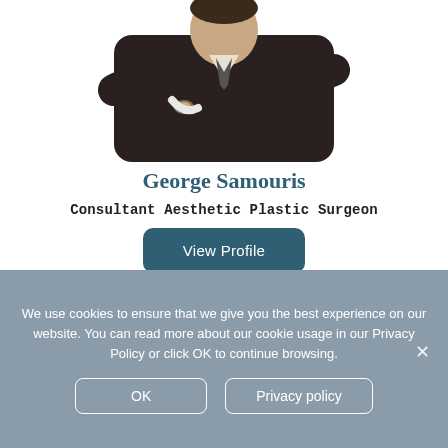[Figure (photo): Professional photo of a man in a dark suit with arms crossed, shown from roughly waist up against a white background]
George Samouris
Consultant Aesthetic Plastic Surgeon
View Profile
We use cookies to ensure that we give you the best experience on our website. You can read more about our cookie usage in our Privacy Policy or click OK to continue browsing.
OK
Privacy policy